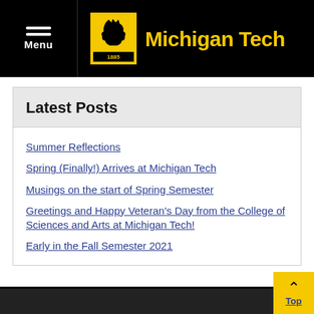Michigan Tech
Latest Posts
Summer Reflections
Spring (Finally!) Arrives at Michigan Tech
Musings on the start of Spring Semester
Greetings and Happy Veteran's Day from the College of Sciences and Arts at Michigan Tech!
Early in the Fall Semester 2021
Top